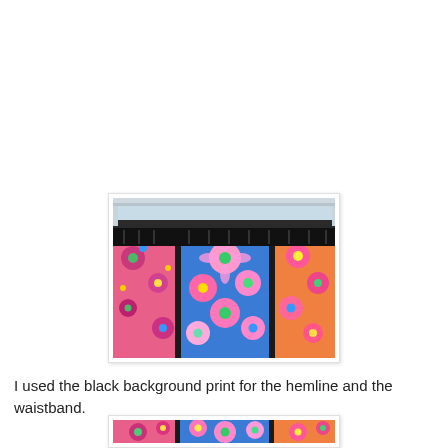[Figure (photo): Close-up photo of colorful floral fabric skirts hanging on a rod, showing pink background fabric with flowers on left, blue background fabric with colorful flowers in center, and more pink/orange floral fabric on right, all with black waistband trim at top.]
I used the black background print for the hemline and the waistband.
[Figure (photo): Partial bottom view of colorful floral fabric skirts similar to the top photo.]